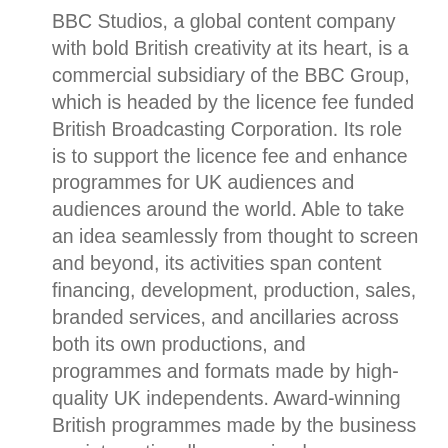BBC Studios, a global content company with bold British creativity at its heart, is a commercial subsidiary of the BBC Group, which is headed by the licence fee funded British Broadcasting Corporation. Its role is to support the licence fee and enhance programmes for UK audiences and audiences around the world. Able to take an idea seamlessly from thought to screen and beyond, its activities span content financing, development, production, sales, branded services, and ancillaries across both its own productions, and programmes and formats made by high-quality UK independents. Award-winning British programmes made by the business are internationally recognised across a broad range of genres and specialisms, with brands like Strictly Come Dancing/Dancing with the Stars, Top Gear and Doctor Who. BBC.com, BBC Studios' global digital news platform, provides up-to-the-minute international news, in-depth analysis and features to